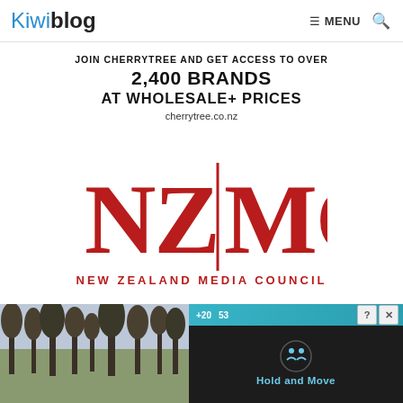Kiwiblog  ☰ MENU  🔍
[Figure (infographic): Cherrytree advertisement banner: JOIN CHERRYTREE AND GET ACCESS TO OVER 2,400 BRANDS AT WHOLESALE+ PRICES cherrytree.co.nz]
[Figure (logo): New Zealand Media Council logo — NZ|MC in red serif letters with a vertical red bar divider, subtitle NEW ZEALAND MEDIA COUNCIL in red uppercase]
[Figure (screenshot): Bottom strip: outdoor winter trees photo on left, dark ad panel on right with teal header bar showing +20 and 53, question mark and X close buttons, hand icon with people, text Hold and Move]